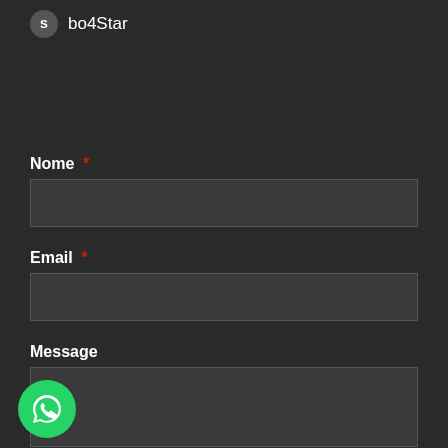bo4Star
Nome *
Email *
Message
[Figure (logo): WhatsApp icon button (green circle with white chat bubble/phone icon)]